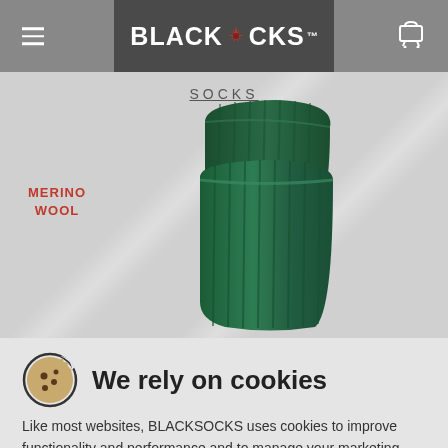BLACKSOCKS
SOCKS
MERINO WOOL
[Figure (photo): A dark green ribbed merino wool sock folded/rolled, displayed against a light grey background with diagonal stripe lighting]
We rely on cookies
Like most websites, BLACKSOCKS uses cookies to improve functionality and performance and to manage your marketing. We do not set non-technical cookies unless you have given your explicit consent. Read more in our Privacy Policy.